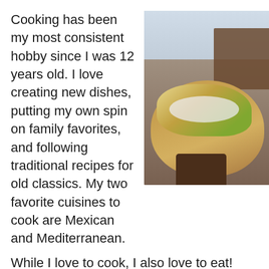Cooking has been my most consistent hobby since I was 12 years old. I love creating new dishes, putting my own spin on family favorites, and following traditional recipes for old classics. My two favorite cuisines to cook are Mexican and Mediterranean.
[Figure (photo): A hand holding a plate of loaded fries/food topped with sauce and greens, photographed outdoors near wooden furniture and a garden setting.]
While I love to cook, I also love to eat! Exploring new cuisines and discovering new restaurants are some of my favorite pastimes.